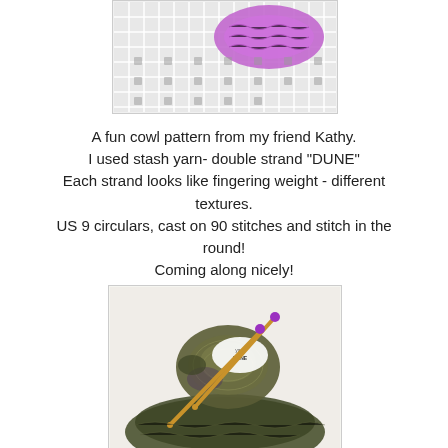[Figure (photo): Photo of a purple/pink knitted cowl or swatch on a white grid/mesh surface, partially cropped at the top of the page.]
A fun cowl pattern from my friend Kathy.
I used stash yarn- double strand "DUNE"
Each strand looks like fingering weight - different textures.
US 9 circulars, cast on 90 stitches and stitch in the round!
Coming along nicely!
[Figure (photo): Photo of a skein of dark green/olive variegated yarn with a label, and purple-tipped knitting needles, resting on a white fabric surface. A partially knitted dark cowl is visible around the yarn.]